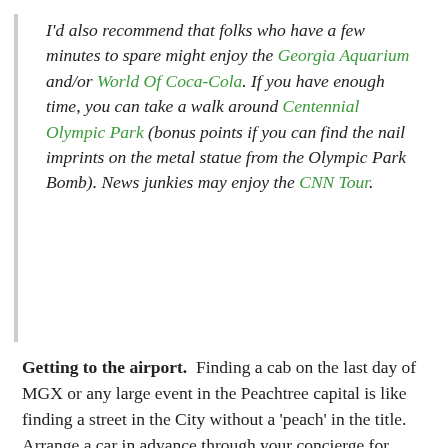I'd also recommend that folks who have a few minutes to spare might enjoy the Georgia Aquarium and/or World Of Coca-Cola. If you have enough time, you can take a walk around Centennial Olympic Park (bonus points if you can find the nail imprints on the metal statue from the Olympic Park Bomb). News junkies may enjoy the CNN Tour.
Getting to the airport.  Finding a cab on the last day of MGX or any large event in the Peachtree capital is like finding a street in the City without a 'peach' in the title.  Arrange a car in advance through your concierge for more than one traveler.  Or that concierge you tipped earlier just may have arranged a shuttle for a small